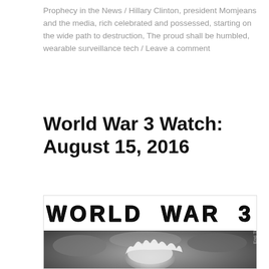Prophecy in the News / Hillary Clinton, president Momjeans and the media, rich celebrated and possessed, starting on the wide path to destruction, The proud shall be humbled, wearable surveillance tech / Leave a comment
World War 3 Watch: August 15, 2016
[Figure (photo): Black and white image of a nuclear explosion mushroom cloud with 'WORLD WAR 3' text header at the top, and 'End Times Prophecy' vertical text on the right side.]